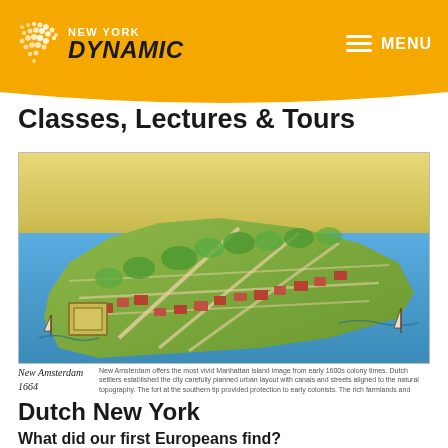NEW YORK DYNAMIC — MENU
Classes, Lectures & Tours
[Figure (map): Historical illustrated map of New Amsterdam 1664, showing Manhattan island from an aerial perspective with streets, buildings, waterways, and ships]
New Amsterdam 1664
Dutch New York
What did our first Europeans find?